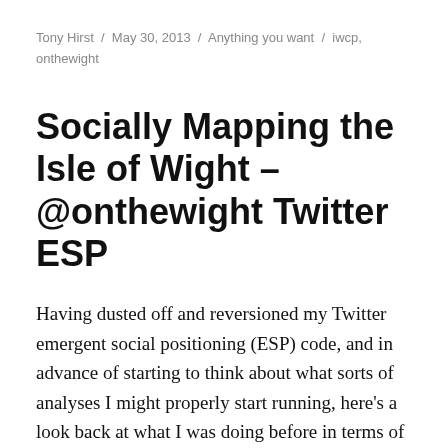Tony Hirst / May 30, 2013 / Anything you want / iwcp, onthewight
Socially Mapping the Isle of Wight – @onthewight Twitter ESP
Having dusted off and reversioned my Twitter emergent social positioning (ESP) code, and in advance of starting to think about what sorts of analyses I might properly start running, here's a look back at what I was doing before in terms of charting where particular Twitter accounts sat amongst the other accounts